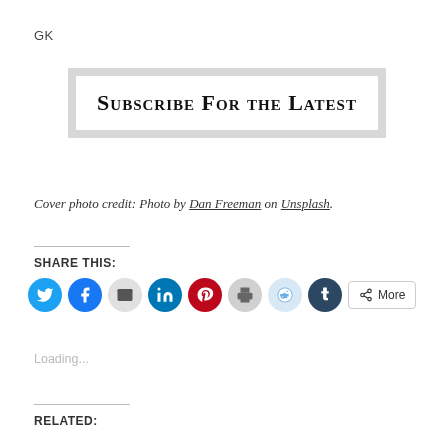GK
[Figure (other): Subscribe For the Latest button/banner with gray border and white inner box]
Cover photo credit: Photo by Dan Freeman on Unsplash.
SHARE THIS:
[Figure (infographic): Row of social share icon buttons: Twitter (blue), Facebook (blue), Email (gray), LinkedIn (dark blue), Pinterest (red), Print (gray), Reddit (light blue), Tumblr (dark navy), and a More button]
Loading...
RELATED: